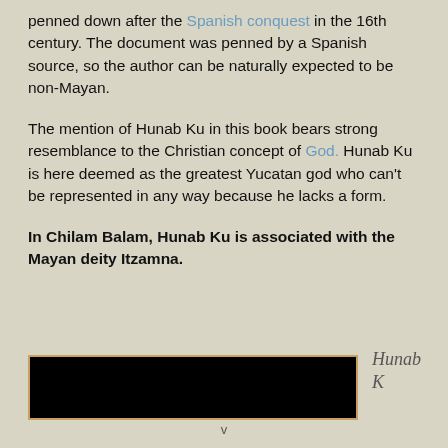penned down after the Spanish conquest in the 16th century. The document was penned by a Spanish source, so the author can be naturally expected to be non-Mayan.
The mention of Hunab Ku in this book bears strong resemblance to the Christian concept of God. Hunab Ku is here deemed as the greatest Yucatan god who can’t be represented in any way because he lacks a form.
In Chilam Balam, Hunab Ku is associated with the Mayan deity Itzamna.
[Figure (photo): Black rectangular image with an orange/gold border, partially visible at the bottom of the page. Handwritten text 'Hunab' visible to the right.]
v